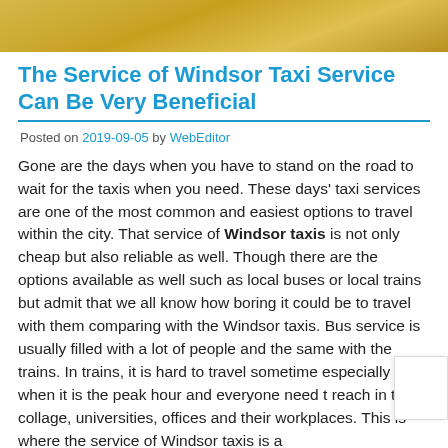[Figure (photo): Partial view of a golden/yellow colored image at the top of the page, likely a taxi or vehicle]
The Service of Windsor Taxi Service Can Be Very Beneficial
Posted on 2019-09-05 by WebEditor
Gone are the days when you have to stand on the road to wait for the taxis when you need. These days' taxi services are one of the most common and easiest options to travel within the city. That service of Windsor taxis is not only cheap but also reliable as well. Though there are the options available as well such as local buses or local trains but admit that we all know how boring it could be to travel with them comparing with the Windsor taxis. Bus service is usually filled with a lot of people and the same with the trains. In trains, it is hard to travel sometime especially when it is the peak hour and everyone need t reach in their collage, universities, offices and their workplaces. This is where the service of Windsor taxis is a